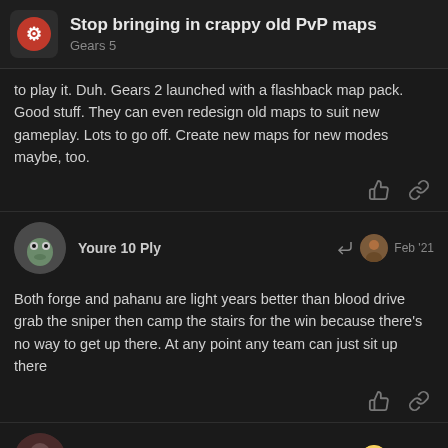Stop bringing in crappy old PvP maps — Gears 5
to play it. Duh. Gears 2 launched with a flashback map pack. Good stuff. They can even redesign old maps to suit new gameplay. Lots to go off. Create new maps for new modes maybe, too.
Youre 10 Ply — Feb '21
Both forge and pahanu are light years better than blood drive grab the sniper then camp the stairs for the win because there’s no way to get up there. At any point any team can just sit up there
HesitantPath667 — Feb '21
Ah yes, Stasis. I remember not a whole lotta